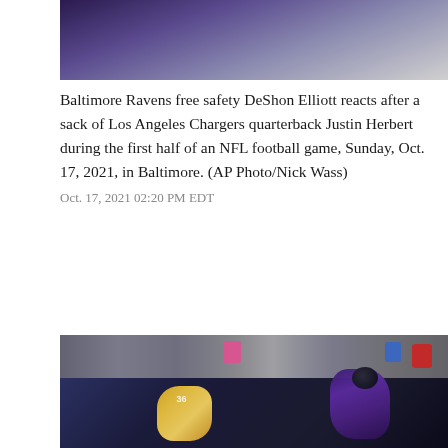[Figure (photo): Top portion of a Baltimore Ravens player in purple uniform, cropped showing lower body]
Baltimore Ravens free safety DeShon Elliott reacts after a sack of Los Angeles Chargers quarterback Justin Herbert during the first half of an NFL football game, Sunday, Oct. 17, 2021, in Baltimore. (AP Photo/Nick Wass)
Oct. 17, 2021 02:20 PM EDT
[Figure (photo): NFL football game action shot: Baltimore Ravens player in purple uniform running with the ball being tackled by Los Angeles Chargers player #36 in yellow and white uniform, with crowd in background]